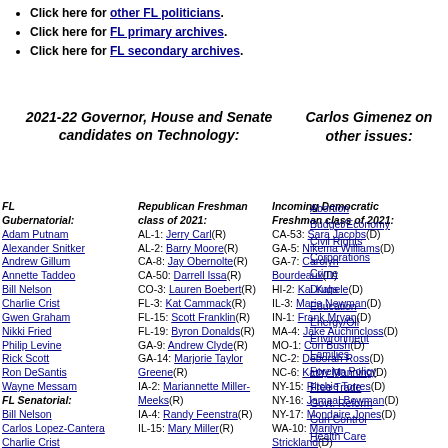Click here for other FL politicians.
Click here for FL primary archives.
Click here for FL secondary archives.
2021-22 Governor, House and Senate candidates on Technology:
Carlos Gimenez on other issues:
FL Gubernatorial: Adam Putnam, Alexander Snitker, Andrew Gillum, Annette Taddeo, Bill Nelson, Charlie Crist, Gwen Graham, Nikki Fried, Philip Levine, Rick Scott, Ron DeSantis, Wayne Messam. FL Senatorial: Bill Nelson, Carlos Lopez-Cantera, Charlie Crist, David Jolly
Republican Freshman class of 2021: AL-1: Jerry Carl(R), AL-2: Barry Moore(R), CA-8: Jay Obernolte(R), CA-50: Darrell Issa(R), CO-3: Lauren Boebert(R), FL-3: Kat Cammack(R), FL-15: Scott Franklin(R), FL-19: Byron Donalds(R), GA-9: Andrew Clyde(R), GA-14: Marjorie Taylor Greene(R), IA-2: Mariannette Miller-Meeks(R), IA-4: Randy Feenstra(R), IL-15: Mary Miller(R)
Incoming Democratic Freshman class of 2021: CA-53: Sara Jacobs(D), GA-5: Nikema Williams(D), GA-7: Carolyn Bourdeaux(D), HI-2: Kai Kahele(D), IL-3: Marie Newman(D), IN-1: Frank Mrvan(D), MA-4: Jake Auchincloss(D), MO-1: Cori Bush(D), NC-2: Deborah Ross(D), NC-6: Kathy Manning(D), NY-15: Ritchie Torres(D), NY-16: Jamaal Bowman(D), NY-17: Mondaire Jones(D), WA-10: Marilyn Strickland(D)
Abortion, Budget/Economy, Civil Rights, Corporations, Crime, Drugs, Education, Energy/Oil, Environment, Families, Foreign Policy, Free Trade, Govt. Reform, Gun Control, Health Care, Homeland Security, Immigration, Jobs, Principles, Social Security, Tax Reform, Technology